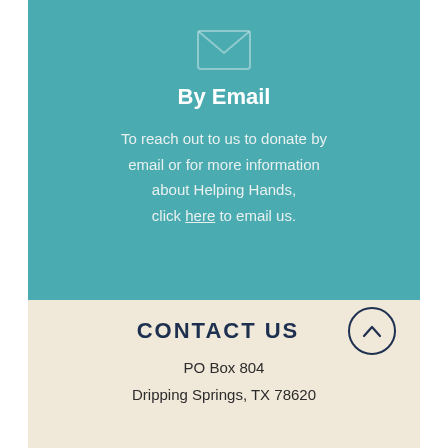[Figure (illustration): Email envelope icon in white/light teal, centered at top of teal section]
By Email
To reach out to us to donate by email or for more information about Helping Hands, click here to email us.
CONTACT US
PO Box 804
Dripping Springs, TX 78620